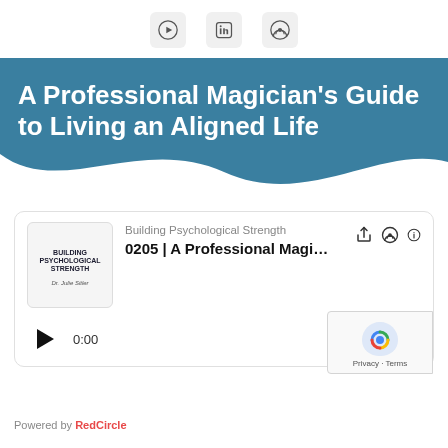[Figure (infographic): Top icon bar with YouTube, LinkedIn, and Podcast icons]
A Professional Magician's Guide to Living an Aligned Life
[Figure (screenshot): Podcast player card showing Building Psychological Strength episode 0205 | A Professional Magi... with play button, 0:00 start time, 49:33 duration]
Powered by RedCircle